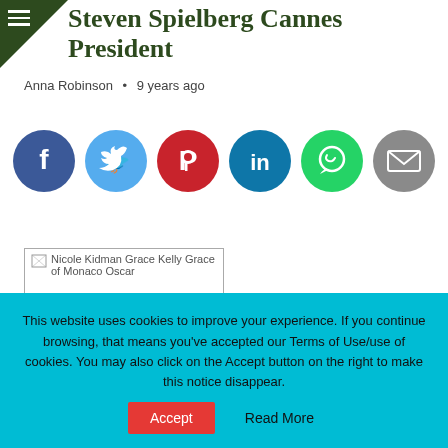Steven Spielberg Cannes President
Anna Robinson • 9 years ago
[Figure (infographic): Row of six social media sharing icons: Facebook (dark blue), Twitter (light blue), Pinterest (red), LinkedIn (dark teal), WhatsApp (green), Email (gray)]
[Figure (photo): Nicole Kidman Grace Kelly Grace of Monaco Oscar — broken image placeholder]
Grace of Monaco Nicole Kidman as Grace Kelly.
This website uses cookies to improve your experience. If you continue browsing, that means you've accepted our Terms of Use/use of cookies. You may also click on the Accept button on the right to make this notice disappear.